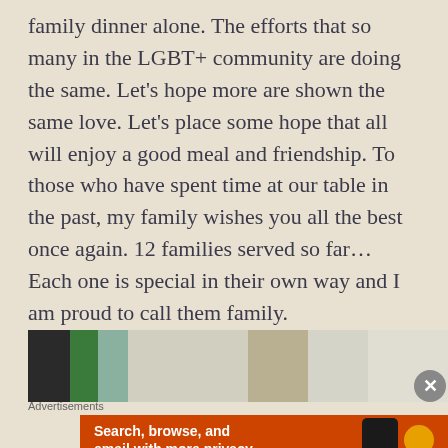family dinner alone. The efforts that so many in the LGBT+ community are doing the same. Let's hope more are shown the same love. Let's place some hope that all will enjoy a good meal and friendship. To those who have spent time at our table in the past, my family wishes you all the best once again. 12 families served so far... Each one is special in their own way and I am proud to call them family.
[Figure (photo): Partial photograph showing dark, green, and light-colored objects, partially cropped at the bottom of the article content area]
Advertisements
[Figure (screenshot): Advertisement banner with orange background showing DuckDuckGo ad: 'Search, browse, and email with more privacy.' with phone and duck logo]